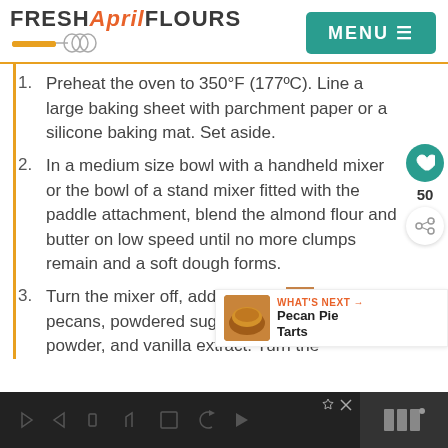FRESH April FLOURS | MENU
Preheat the oven to 350°F (177ºC). Line a large baking sheet with parchment paper or a silicone baking mat. Set aside.
In a medium size bowl with a handheld mixer or the bowl of a stand mixer fitted with the paddle attachment, blend the almond flour and butter on low speed until no more clumps remain and a soft dough forms.
Turn the mixer off, add the chop... pecans, powdered sugar, salt, b... powder, and vanilla extract. Turn the
WHAT'S NEXT → Pecan Pie Tarts